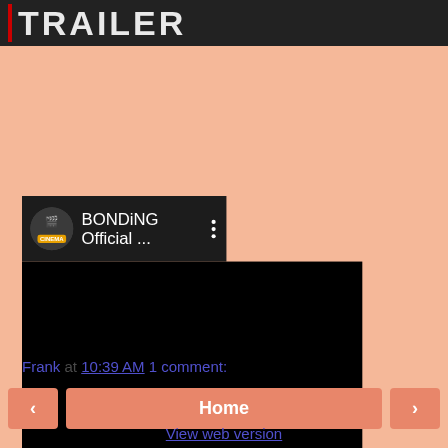[Figure (screenshot): Top banner showing word TRAILER in white bold text on dark background with red vertical bar on left side]
[Figure (screenshot): Embedded YouTube video player showing BONDiNG Official ... with channel icon, three-dot menu, and black video area below]
Frank at 10:39 AM    1 comment:
[Figure (screenshot): Navigation bar with left arrow button, Home button, and right arrow button]
View web version